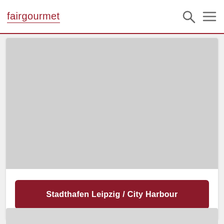fairgourmet
[Figure (photo): Large gray placeholder image for a venue photo]
Stadthafen Leipzig / City Harbour